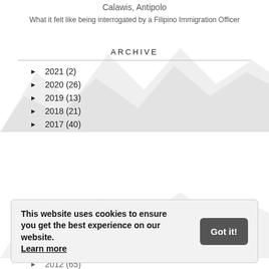Calawis, Antipolo
What it felt like being interrogated by a Filipino Immigration Officer
ARCHIVE
► 2021 (2)
► 2020 (26)
► 2019 (13)
► 2018 (21)
► 2017 (40)
This website uses cookies to ensure you get the best experience on our website. Learn more
► 2012 (65)